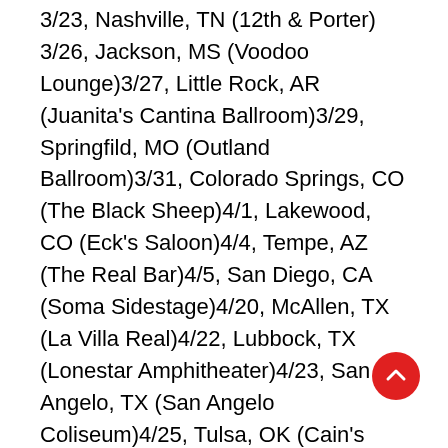3/23, Nashville, TN (12th & Porter) 3/26, Jackson, MS (Voodoo Lounge)3/27, Little Rock, AR (Juanita's Cantina Ballroom)3/29, Springfild, MO (Outland Ballroom)3/31, Colorado Springs, CO (The Black Sheep)4/1, Lakewood, CO (Eck's Saloon)4/4, Tempe, AZ (The Real Bar)4/5, San Diego, CA (Soma Sidestage)4/20, McAllen, TX (La Villa Real)4/22, Lubbock, TX (Lonestar Amphitheater)4/23, San Angelo, TX (San Angelo Coliseum)4/25, Tulsa, OK (Cain's Ballroom)4/26, Wichita Falls, TX (Kay Yeager Coliseum)4/28, Pensacola, FL (Pensacola Civic Center)5/2, Knoxville, TN (Knoxville Civic Coliseum)5/3, Little Rock, AR (Clear Channel Metroplex)5/10, Mesa, AZ (Mesa Amphitheatre)5/12, Temecula, CA (Pechanga Resort & Casino)5/16, Colorado Springs, CO (World Arena)5/17, Rapid City, SD (Rushmore Plaza Civic Center)5/20, Duluth, MN (Pioneer Hall)5/21, Milwaukee...